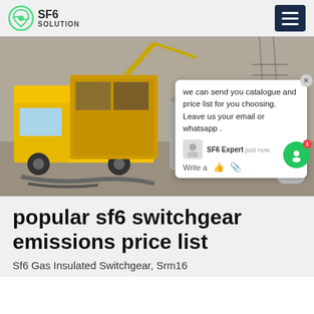SF6 SOLUTION
[Figure (photo): Yellow utility truck with SF6 gas cylinders and industrial equipment at an outdoor electrical substation site. A chat popup overlay is visible showing: 'we can send you catalogue and price list for you choosing. Leave us your email or whatsapp. SF6 Expert just now. Write a...']
popular sf6 switchgear emissions price list
Sf6 Gas Insulated Switchgear, Srm16